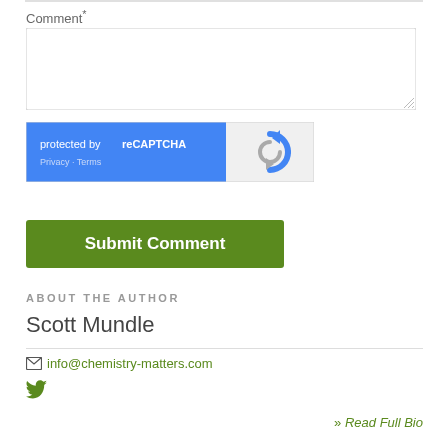Comment*
[Figure (screenshot): Empty comment textarea input box with resize handle]
[Figure (screenshot): reCAPTCHA widget: blue left panel with 'protected by reCAPTCHA' text and Privacy/Terms links; gray right panel with reCAPTCHA circular arrow logo]
Submit Comment
ABOUT THE AUTHOR
Scott Mundle
info@chemistry-matters.com
» Read Full Bio